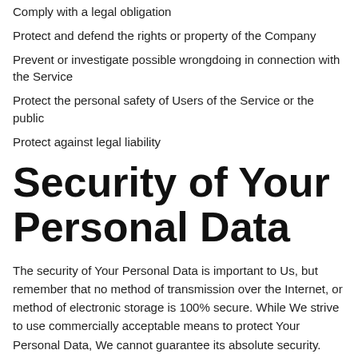Comply with a legal obligation
Protect and defend the rights or property of the Company
Prevent or investigate possible wrongdoing in connection with the Service
Protect the personal safety of Users of the Service or the public
Protect against legal liability
Security of Your Personal Data
The security of Your Personal Data is important to Us, but remember that no method of transmission over the Internet, or method of electronic storage is 100% secure. While We strive to use commercially acceptable means to protect Your Personal Data, We cannot guarantee its absolute security.
Children's Privacy